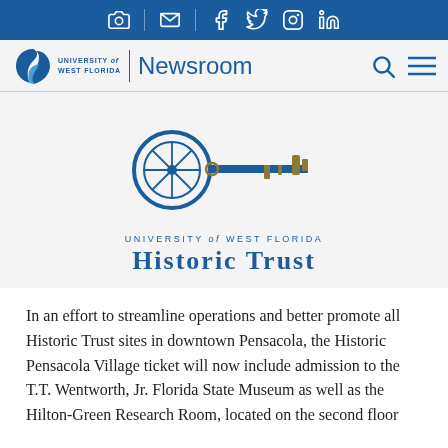Social media icons bar: camera, email, facebook, twitter, instagram, linkedin
University of West Florida | Newsroom
[Figure (logo): University of West Florida Historic Trust logo — a compass/wheel key with blue shaft and gold bow, above text 'UNIVERSITY of WEST FLORIDA' and 'Historic Trust']
In an effort to streamline operations and better promote all Historic Trust sites in downtown Pensacola, the Historic Pensacola Village ticket will now include admission to the T.T. Wentworth, Jr. Florida State Museum as well as the Hilton-Green Research Room, located on the second floor